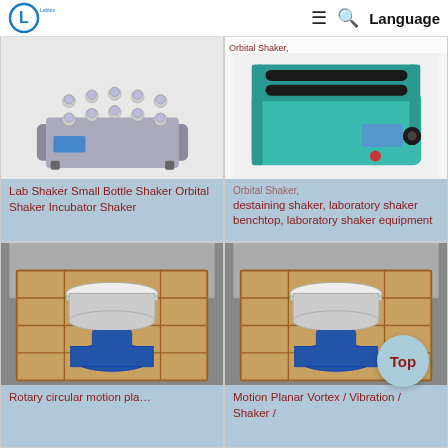[Figure (screenshot): Website navigation bar with circular logo (letter L inside circle), hamburger menu icon, search icon, and Language text]
[Figure (photo): Lab shaker with multiple flask holders on a grey platform with blue display panel]
Lab Shaker Small Bottle Shaker Orbital Shaker Incubator Shaker
[Figure (photo): Teal/aqua colored orbital shaker machine with rollers and a digital display]
Orbital Shaker, destaining shaker, laboratory shaker benchtop, laboratory shaker equipment
[Figure (photo): Industrial rotary circular motion planetary sieve/shaker in wooden crate packaging in a warehouse]
Rotary circular motion pla...
[Figure (photo): Industrial motion planar vortex vibration shaker machine in wooden crate packaging in a warehouse]
Motion Planar Vortex / Vibration / Shaker /